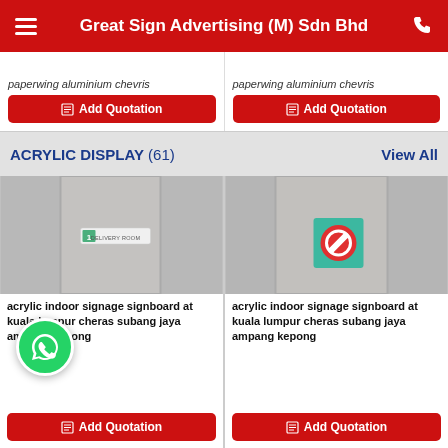Great Sign Advertising (M) Sdn Bhd
paperwing aluminium chevris
Add Quotation
paperwing aluminium chevris
Add Quotation
ACRYLIC DISPLAY (61)
View All
[Figure (photo): Acrylic indoor signage showing a delivery room door sign numbered 1 with text DELIVERY ROOM]
acrylic indoor signage signboard at kuala lumpur cheras subang jaya ampang kepong
Add Quotation
[Figure (photo): Acrylic indoor signage showing a door sign with a red prohibition symbol on teal/green background]
acrylic indoor signage signboard at kuala lumpur cheras subang jaya ampang kepong
Add Quotation